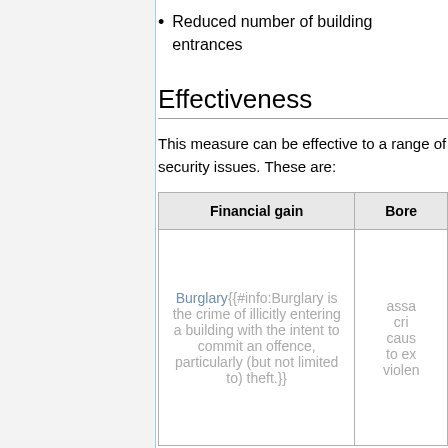Reduced number of building entrances
Effectiveness
This measure can be effective to a range of security issues. These are:
| Financial gain | Bore... |
| --- | --- |
| Burglary{{#info:Burglary is the crime of illicitly entering a building with the intent to commit an offence, particularly (but not limited to) theft.}} | assa... cri... caus... to ex... violen... |